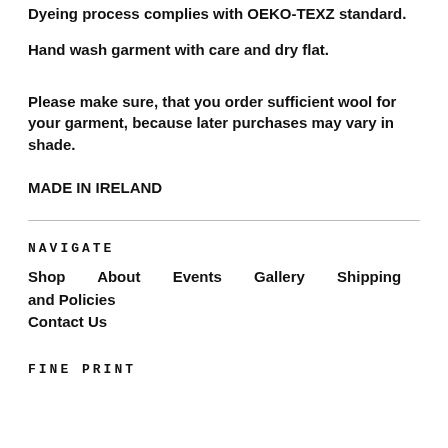Dyeing process complies with OEKO-TEXZ standard.
Hand wash garment with care and dry flat.
Please make sure, that you order sufficient wool for your garment, because later purchases may vary in shade.
MADE IN IRELAND
NAVIGATE
Shop   About   Events   Gallery   Shipping and Policies   Contact Us
FINE PRINT